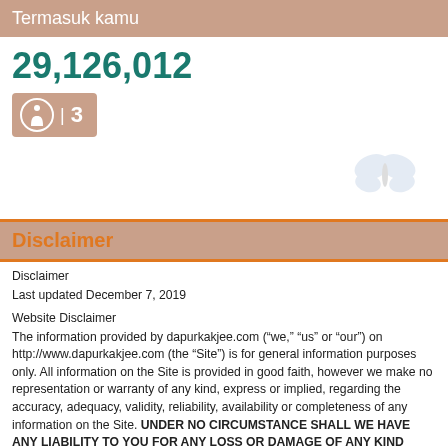Termasuk kamu
29,126,012
[Figure (infographic): Orange badge with a pedestrian/person icon inside a circle and the number 3]
Disclaimer
Disclaimer
Last updated December 7, 2019

Website Disclaimer
The information provided by dapurkakjee.com (“we,” “us” or “our”) on http://www.dapurkakjee.com (the “Site”) is for general information purposes only. All information on the Site is provided in good faith, however we make no representation or warranty of any kind, express or implied, regarding the accuracy, adequacy, validity, reliability, availability or completeness of any information on the Site. UNDER NO CIRCUMSTANCE SHALL WE HAVE ANY LIABILITY TO YOU FOR ANY LOSS OR DAMAGE OF ANY KIND INCURRED AS A RESULT OF THE USE OF THE SITE OR RELIANCE ON ANY INFORMATION PROVIDED ON THE SITE. YOUR USE OF THE SITE